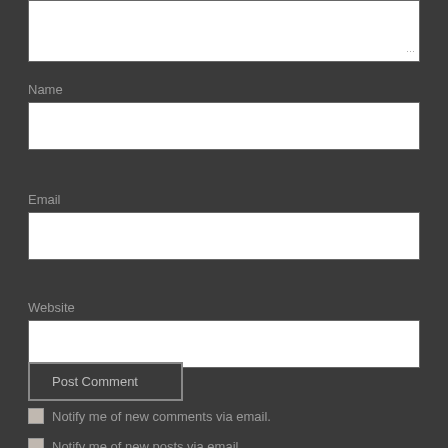[Figure (screenshot): Partial view of a comment form textarea at the top of the page]
Name
[Figure (screenshot): Empty Name input field]
Email
[Figure (screenshot): Empty Email input field]
Website
[Figure (screenshot): Empty Website input field]
Post Comment
Notify me of new comments via email.
Notify me of new posts via email.